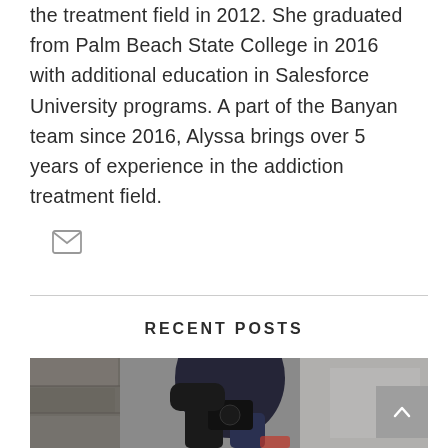the treatment field in 2012. She graduated from Palm Beach State College in 2016 with additional education in Salesforce University programs. A part of the Banyan team since 2016, Alyssa brings over 5 years of experience in the addiction treatment field.
[Figure (illustration): Email envelope icon]
RECENT POSTS
[Figure (photo): A person sitting against a wall holding a camera, wearing dark clothing]